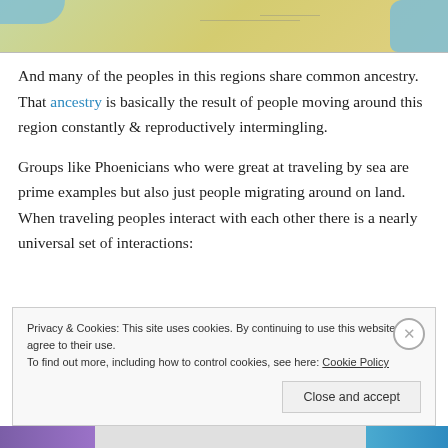[Figure (map): Partial map showing North Africa and Middle East region with tan/green land and blue water bodies visible at top and right edges]
And many of the peoples in this regions share common ancestry. That ancestry is basically the result of people moving around this region constantly & reproductively intermingling.
Groups like Phoenicians who were great at traveling by sea are prime examples but also just people migrating around on land. When traveling peoples interact with each other there is a nearly universal set of interactions:
Privacy & Cookies: This site uses cookies. By continuing to use this website, you agree to their use.
To find out more, including how to control cookies, see here: Cookie Policy
Close and accept